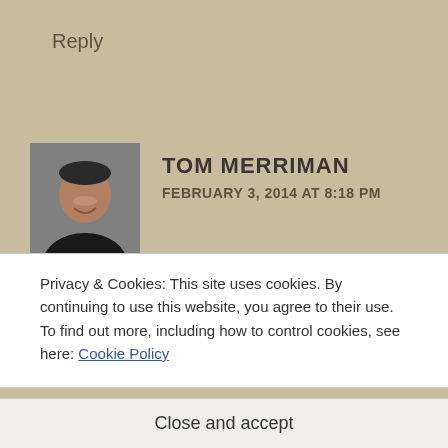Reply
[Figure (photo): Avatar photo of Tom Merriman, a man smiling, wearing a dark shirt, against a gray background.]
TOM MERRIMAN
FEBRUARY 3, 2014 AT 8:18 PM
Imagine finding something like that when you’re digging
Privacy & Cookies: This site uses cookies. By continuing to use this website, you agree to their use.
To find out more, including how to control cookies, see here: Cookie Policy
Close and accept
I agree with it – finds such as these should be in a